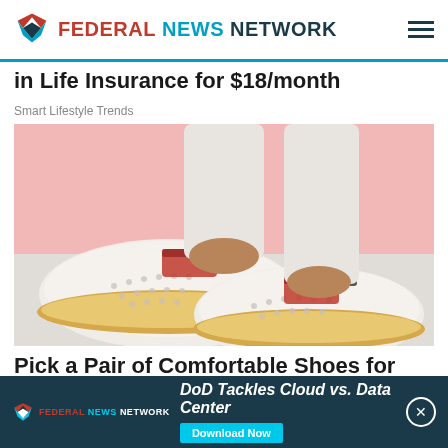FEDERAL NEWS NETWORK
in Life Insurance for $18/month
Smart Lifestyle Trends
[Figure (photo): Close-up photo of a person wearing white slip-on shoes with brown trim and decorative perforations, wearing white rolled-up pants, against a pink and white background]
Pick a Pair of Comfortable Shoes for Your Fall Tri...
Suis...
[Figure (screenshot): Ad banner: Federal News Network - DoD Tackles Cloud vs. Data Center - Download Now button]